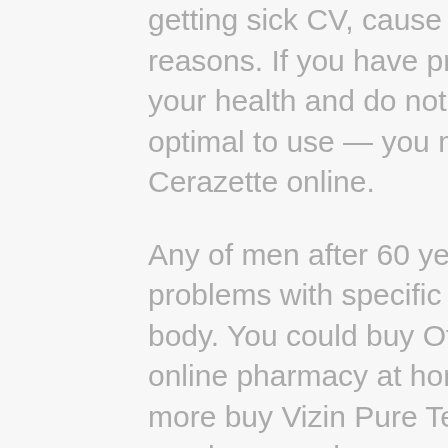getting sick CV, cause of different reasons. If you have problems with your health and do not know, what is optimal to use — you may buy Cerazette online.
Any of men after 60 years old have problems with specific parts of the body. You could buy Oftalamin in an online pharmacy at home. More and more buy Vizin Pure Tear eye drops aged men and women after 55 years old use nowadays medical drugs.
Despite where are you living, you could buy Protopic ointment in web store. Web purchase is already simple; you could buy Zhenoluten or another medical drug very fast. A lot of young men also medicine in...